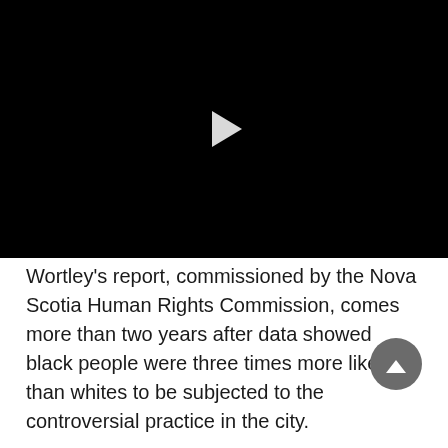[Figure (screenshot): Black video player with a white play button triangle in the center]
Wortley's report, commissioned by the Nova Scotia Human Rights Commission, comes more than two years after data showed black people were three times more likely than whites to be subjected to the controversial practice in the city.
Nova Scotia Senator Wanda Thomas Bernard said she